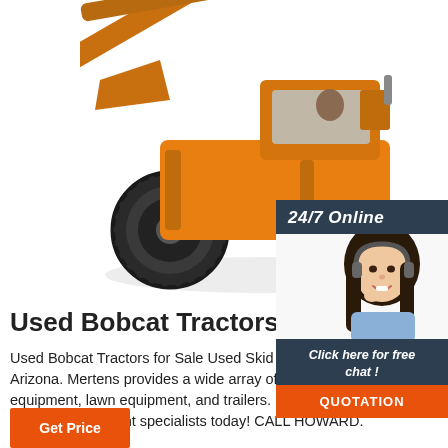[Figure (photo): Large yellow/orange front loader tractor (construction equipment) on white background, facing left, with raised bucket arm]
[Figure (photo): 24/7 Online chat widget showing a smiling woman with a headset, dark header with '24/7 Online', body text 'Click here for free chat!', and an orange QUOTATION button]
Used Bobcat Tractors For Sa...
Used Bobcat Tractors for Sale Used Skid Steer for Sale in Arizona. Mertens provides a wide array of construction equipment, lawn equipment, and trailers. Call one of our qualified equipment specialists today! CALL HOWARD.
[Figure (other): Orange 'Get Price' button at bottom left]